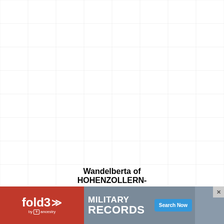[Figure (other): Light grey grid pattern background covering most of the page]
Wandelberta of HOHENZOLLERN-
[Figure (infographic): fold3 by Ancestry advertisement banner for Military Records with Search Now button]